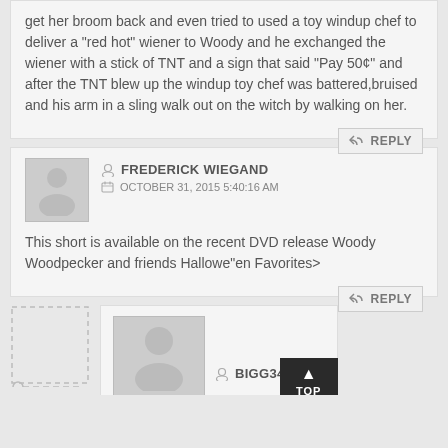get her broom back and even tried to used a toy windup chef to deliver a “red hot” wiener to Woody and he exchanged the wiener with a stick of TNT and a sign that said “Pay 50¢” and after the TNT blew up the windup toy chef was battered,bruised and his arm in a sling walk out on the witch by walking on her.
REPLY
FREDERICK WIEGAND
OCTOBER 31, 2015 5:40:16 AM
This short is available on the recent DVD release Woody Woodpecker and friends Hallowe"en Favorites>
REPLY
BIGG3469